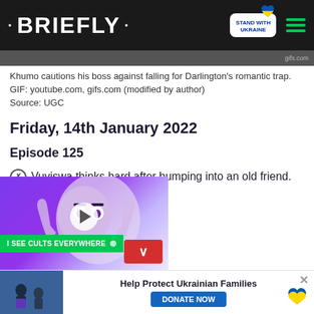• BRIEFLY •
Khumo cautions his boss against falling for Darlington's romantic trap. GIF: youtube.com, gifs.com (modified by author)
Source: UGC
Friday, 14th January 2022
Episode 125
Vuviswa thinks hard after bumping into an old friend. squad finally break out of a Sebatas are concerned with e.
[Figure (screenshot): Video ad overlay showing stylized face on purple background with 'I SEE CULTS EVERYWHERE' green label and play button]
[Figure (infographic): Banner ad showing 'Help Protect Ukrainian Families' with 'DONATE NOW' button and Ukrainian heart logo]